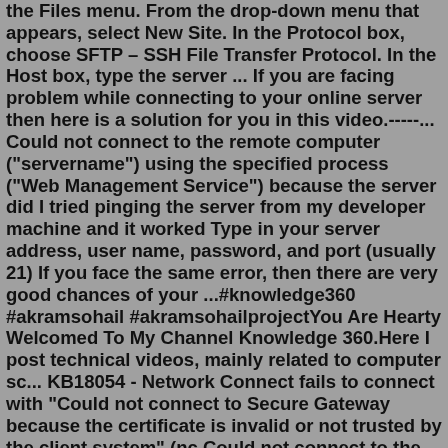the Files menu. From the drop-down menu that appears, select New Site. In the Protocol box, choose SFTP – SSH File Transfer Protocol. In the Host box, type the server ... If you are facing problem while connecting to your online server then here is a solution for you in this video.-----... Could not connect to the remote computer ("servername") using the specified process ("Web Management Service") because the server did I tried pinging the server from my developer machine and it worked Type in your server address, user name, password, and port (usually 21) If you face the same error, then there are very good chances of your ...#knowledge360 #akramsohail #akramsohailprojectYou Are Hearty Welcomed To My Channel Knowledge 360.Here I post technical videos, mainly related to computer sc... KB18054 - Network Connect fails to connect with "Could not connect to Secure Gateway because the certificate is invalid or not trusted by the client system" (nc Could not connect to the remote computer ("servername") using the specified process